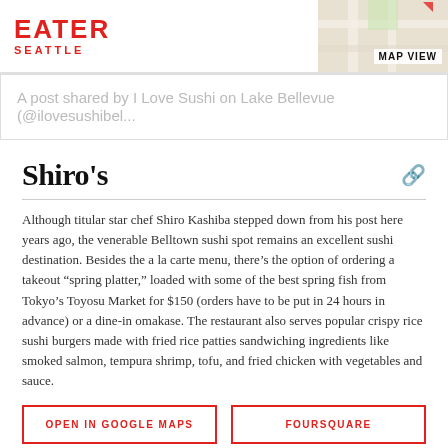EATER SEATTLE
A post shared by I Love Sushi on Lake Bellevue (@ilovesushibel...
Shiro's
Although titular star chef Shiro Kashiba stepped down from his post here years ago, the venerable Belltown sushi spot remains an excellent sushi destination. Besides the a la carte menu, there’s the option of ordering a takeout “spring platter,” loaded with some of the best spring fish from Tokyo’s Toyosu Market for $150 (orders have to be put in 24 hours in advance) or a dine-in omakase. The restaurant also serves popular crispy rice sushi burgers made with fried rice patties sandwiching ingredients like smoked salmon, tempura shrimp, tofu, and fried chicken with vegetables and sauce.
OPEN IN GOOGLE MAPS
FOURSQUARE